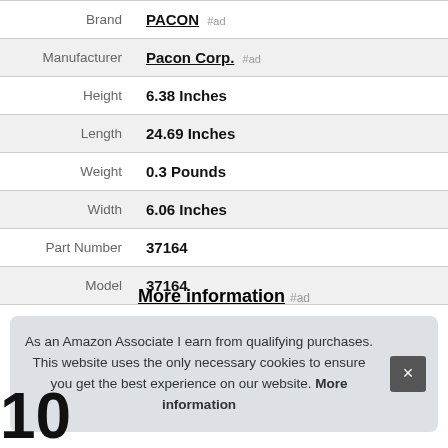| Attribute | Value |
| --- | --- |
| Brand | PACON #ad |
| Manufacturer | Pacon Corp. #ad |
| Height | 6.38 Inches |
| Length | 24.69 Inches |
| Weight | 0.3 Pounds |
| Width | 6.06 Inches |
| Part Number | 37164 |
| Model | 37164 |
More information #ad
As an Amazon Associate I earn from qualifying purchases. This website uses the only necessary cookies to ensure you get the best experience on our website. More information